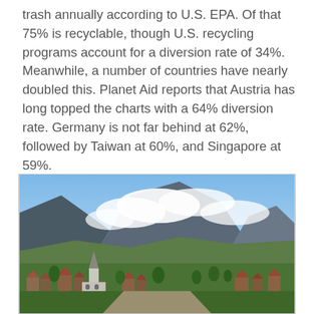trash annually according to U.S. EPA. Of that 75% is recyclable, though U.S. recycling programs account for a diversion rate of 34%. Meanwhile, a number of countries have nearly doubled this. Planet Aid reports that Austria has long topped the charts with a 64% diversion rate. Germany is not far behind at 62%, followed by Taiwan at 60%, and Singapore at 59%.
[Figure (photo): Aerial or elevated view of an Alpine village with a church steeple in the foreground, green hills, and large mountains partially covered by clouds in the background. Likely an Austrian or Swiss village.]